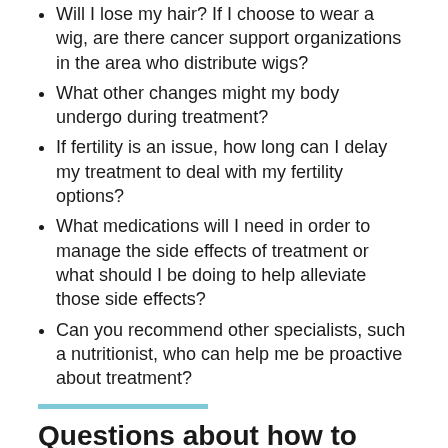Will I lose my hair? If I choose to wear a wig, are there cancer support organizations in the area who distribute wigs?
What other changes might my body undergo during treatment?
If fertility is an issue, how long can I delay my treatment to deal with my fertility options?
What medications will I need in order to manage the side effects of treatment or what should I be doing to help alleviate those side effects?
Can you recommend other specialists, such a nutritionist, who can help me be proactive about treatment?
Questions about how to handle difficult news:
How do I explain the news to my family and friends?
What will be my out of pocket costs?
What is the 1, 3, 5, 10 year survival rate for my type